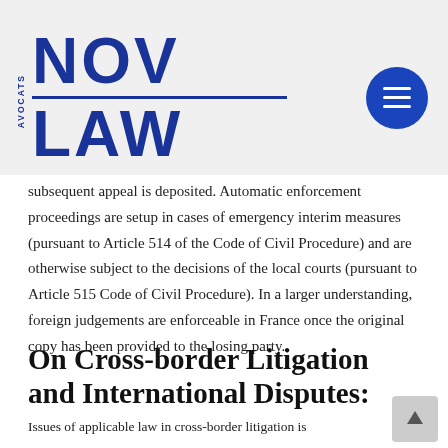NOV LAW AVOCATS logo with menu button
subsequent appeal is deposited. Automatic enforcement proceedings are setup in cases of emergency interim measures (pursuant to Article 514 of the Code of Civil Procedure) and are otherwise subject to the decisions of the local courts (pursuant to Article 515 Code of Civil Procedure). In a larger understanding, foreign judgements are enforceable in France once the original copy has been provided to the losing party.
On Cross-border Litigation and International Disputes:
Issues of applicable law in cross-border litigation is